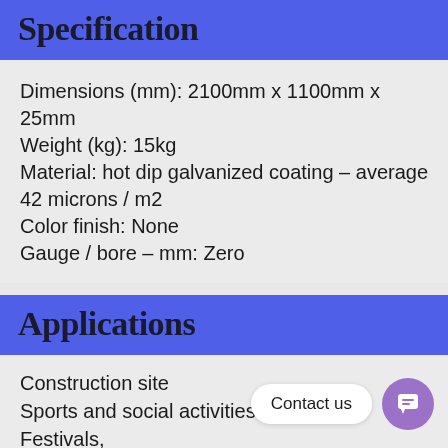Specification
Dimensions (mm): 2100mm x 1100mm x 25mm
Weight (kg): 15kg
Material: hot dip galvanized coating – average 42 microns / m2
Color finish: None
Gauge / bore – mm: Zero
Applications
Construction site
Sports and social activities
Festivals,
school,
concert,;
Any area that needs to be blocked to prevent access to